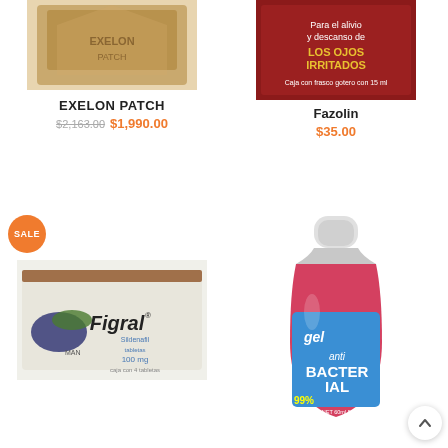[Figure (photo): EXELON PATCH product box, partially cropped at top]
EXELON PATCH
$2,163.00 $1,990.00
[Figure (photo): Fazolin eye drops box with text: Para el alivio y descanso de LOS OJOS IRRITADOS, Caja con frasco gotero con 15 ml]
Fazolin
$35.00
SALE
[Figure (photo): Figral Sildenafil 100mg tablets box (4 tablets), MAN brand]
[Figure (photo): Antibacterial gel bottle, 60ml, 99% antibacterial, Gordan brand, red/pink liquid visible inside clear bottle with blue label]
[Figure (other): Scroll to top button with upward chevron arrow]